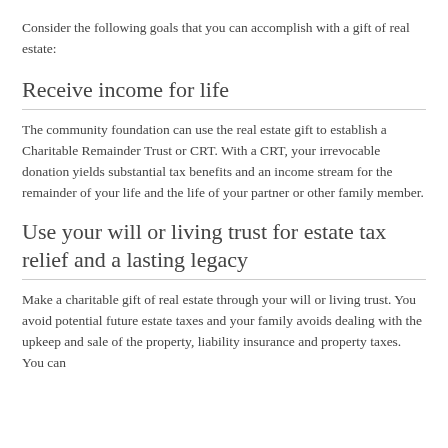Consider the following goals that you can accomplish with a gift of real estate:
Receive income for life
The community foundation can use the real estate gift to establish a Charitable Remainder Trust or CRT. With a CRT, your irrevocable donation yields substantial tax benefits and an income stream for the remainder of your life and the life of your partner or other family member.
Use your will or living trust for estate tax relief and a lasting legacy
Make a charitable gift of real estate through your will or living trust. You avoid potential future estate taxes and your family avoids dealing with the upkeep and sale of the property, liability insurance and property taxes. You can